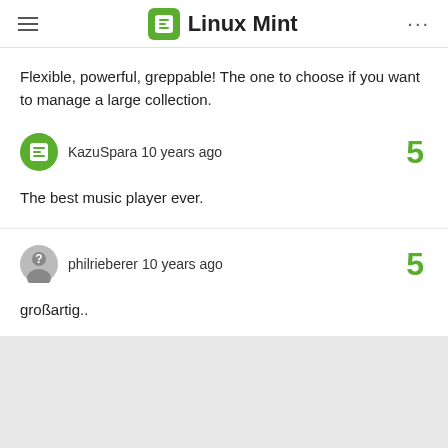Linux Mint
Flexible, powerful, greppable! The one to choose if you want to manage a large collection.
KazuSpara 10 years ago  5
The best music player ever.
philrieberer 10 years ago  5
großartig..